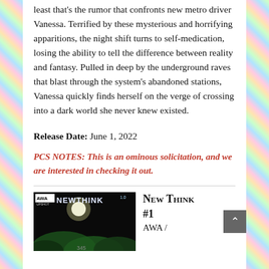least that's the rumor that confronts new metro driver Vanessa. Terrified by these mysterious and horrifying apparitions, the night shift turns to self-medication, losing the ability to tell the difference between reality and fantasy. Pulled in deep by the underground raves that blast through the system's abandoned stations, Vanessa quickly finds herself on the verge of crossing into a dark world she never knew existed.
Release Date: June 1, 2022
PCS NOTES: This is an ominous solicitation, and we are interested in checking it out.
[Figure (photo): Comic book cover or promotional image: dark background with green foliage, AWA UPSHOT logo in top left, NEWTHINK 1.0 text in white/blue neon style letters, number 345 visible at bottom]
New Think #1
AWA /